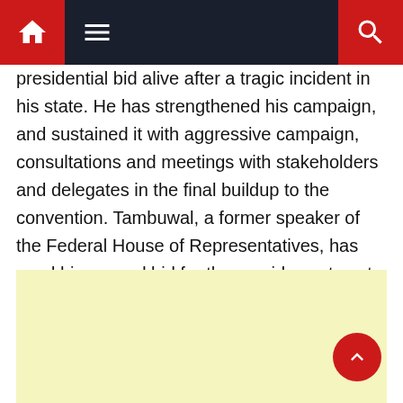Navigation bar with home, menu, and search icons
presidential bid alive after a tragic incident in his state. He has strengthened his campaign, and sustained it with aggressive campaign, consultations and meetings with stakeholders and delegates in the final buildup to the convention. Tambuwal, a former speaker of the Federal House of Representatives, has used his second bid for the presidency to set agenda on issues that bother on the core challenges impeding national stability and progress. He believes Nigeria needs a leader with passion, courage, vision and direction, the attributes he says he represents.
[Figure (other): Light yellow advertisement box at the bottom of the page]